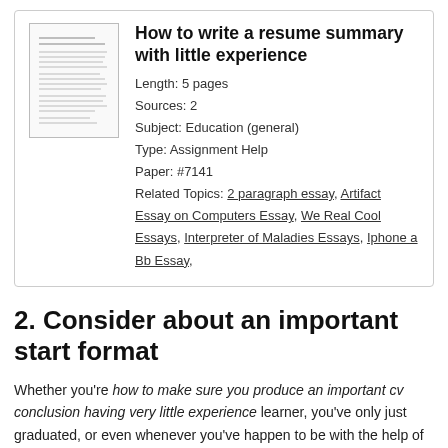[Figure (illustration): Thumbnail image of a document/resume page with horizontal lines of text]
How to write a resume summary with little experience
Length: 5 pages
Sources: 2
Subject: Education (general)
Type: Assignment Help
Paper: #7141
Related Topics: 2 paragraph essay, Artifact Essay on Computers Essay, We Real Cool Essays, Interpreter of Maladies Essays, Iphone a Bb Essay,
2. Consider about an important start format
Whether you're how to make sure you produce an important cv conclusion having very little experience learner, you've only just graduated, or even whenever you've happen to be with the help of a particular small business to get any longer moment, producing any